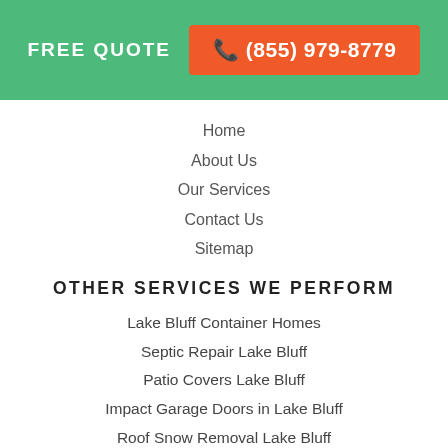FREE QUOTE  ☎ (855) 979-8779
Home
About Us
Our Services
Contact Us
Sitemap
OTHER SERVICES WE PERFORM
Lake Bluff Container Homes
Septic Repair Lake Bluff
Patio Covers Lake Bluff
Impact Garage Doors in Lake Bluff
Roof Snow Removal Lake Bluff
Lake Bluff Composite Decking
Drywall Repair Lake Bluff
Lake Bluff Artificial Grass